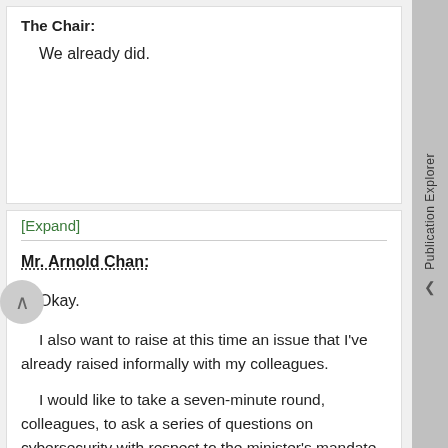The Chair:
We already did.
[Expand]
Mr. Arnold Chan:
Okay.
I also want to raise at this time an issue that I've already raised informally with my colleagues.
I would like to take a seven-minute round, colleagues, to ask a series of questions on cybersecurity with respect to the minister's mandate letter. However, I'm proposing that